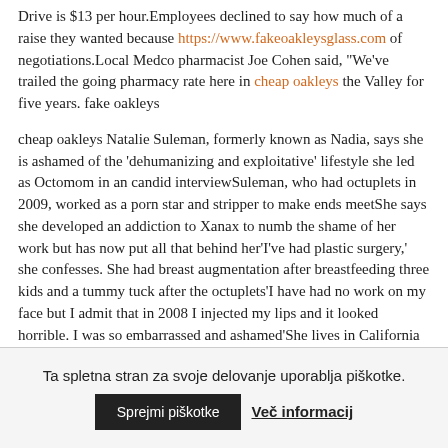Drive is $13 per hour.Employees declined to say how much of a raise they wanted because https://www.fakeoakleysglass.com of negotiations.Local Medco pharmacist Joe Cohen said, "We've trailed the going pharmacy rate here in cheap oakleys the Valley for five years. fake oakleys
cheap oakleys Natalie Suleman, formerly known as Nadia, says she is ashamed of the 'dehumanizing and exploitative' lifestyle she led as Octomom in an candid interviewSuleman, who had octuplets in 2009, worked as a porn star and stripper to make ends meetShe says she developed an addiction to Xanax to numb the shame of her work but has now put all that behind her'I've had plastic surgery,' she confesses. She had breast augmentation after breastfeeding three kids and a tummy tuck after the octuplets'I have had no work on my face but I admit that in 2008 I injected my lips and it looked horrible. I was so embarrassed and ashamed'She lives in California and has returned to her former life as a counsellor, and says 'no one hates Octomom as much as me'By cheap oakleys.
Ta spletna stran za svoje delovanje uporablja piškotke.
Sprejmi piškotke
Več informacij